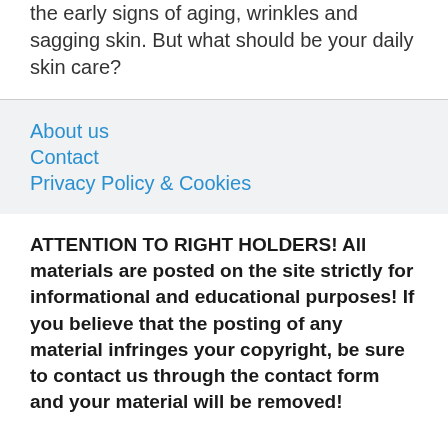the early signs of aging, wrinkles and sagging skin. But what should be your daily skin care?
About us
Contact
Privacy Policy & Cookies
ATTENTION TO RIGHT HOLDERS! All materials are posted on the site strictly for informational and educational purposes! If you believe that the posting of any material infringes your copyright, be sure to contact us through the contact form and your material will be removed!